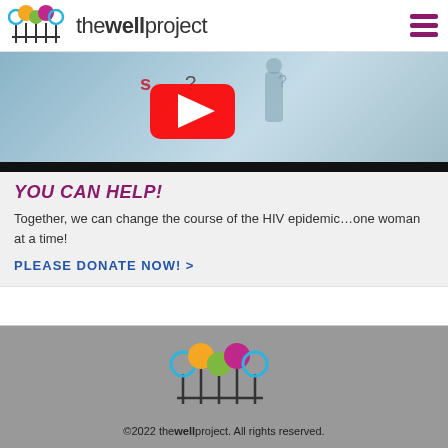the well project
[Figure (screenshot): Video thumbnail showing a YouTube play button on a light blue background with a silhouette figure and question mark]
YOU CAN HELP!
Together, we can change the course of the HIV epidemic...one woman at a time!
PLEASE DONATE NOW! >
[Figure (illustration): Row of small gray female figure icons across the width of the page]
[Figure (logo): The Well Project logo — colorful lollipop-style figures in blue, orange, green, magenta, teal on dark stems]
©2022 thewellproject. All rights reserved.